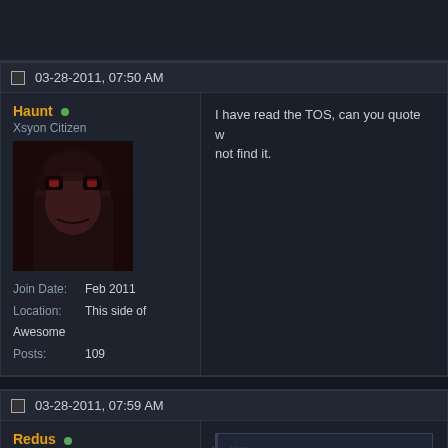03-28-2011, 07:50 AM
Haunt • Xsyon Citizen
Join Date: Feb 2011
Location: This side of Awesome
Posts: 109
I have read the TOS, can you quote w... not find it.
03-28-2011, 07:59 AM
Redus • Xsyon Citizen
Join Date: Feb 2010
Location: Netherlands
Posts: 103
Originally Posted by Haunt
I have read the TOS, can you e...
I sure could not find it.
3. Use of third party software that wo...